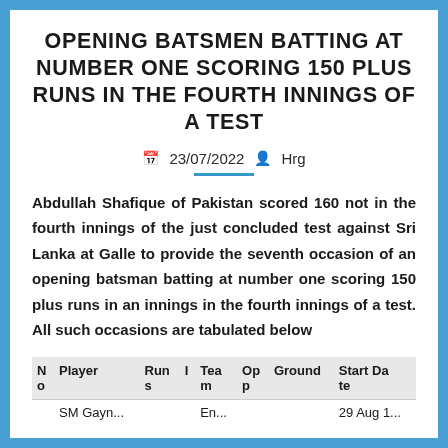OPENING BATSMEN BATTING AT NUMBER ONE SCORING 150 PLUS RUNS IN THE FOURTH INNINGS OF A TEST
23/07/2022  Hrg
Abdullah Shafique of Pakistan scored 160 not in the fourth innings of the just concluded test against Sri Lanka at Galle to provide the seventh occasion of an opening batsman batting at number one scoring 150 plus runs in an innings in the fourth innings of a test. All such occasions are tabulated below
| No | Player | Runs | I | Tea m | Op p | Ground | Start Da te |
| --- | --- | --- | --- | --- | --- | --- | --- |
|  | SM Gayn... |  |  | En... |  |  | 29 Aug 1... |